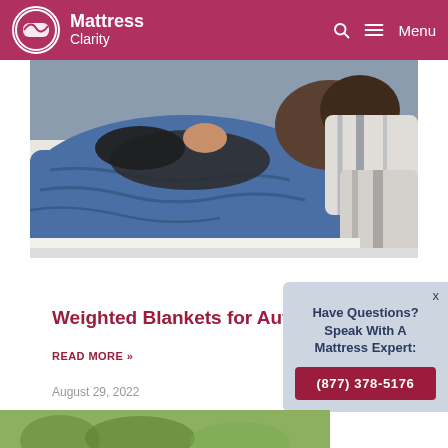Mattress Clarity — Menu
[Figure (photo): Person lying on a bed covered with a blue weighted blanket, with white and grey striped pillows visible on the right side.]
Weighted Blankets for Autism
READ MORE »
August 29, 2022
Have Questions? Speak With A Mattress Expert: (877) 378-5176
[Figure (photo): Partial bottom strip showing green outdoor/nature scene.]